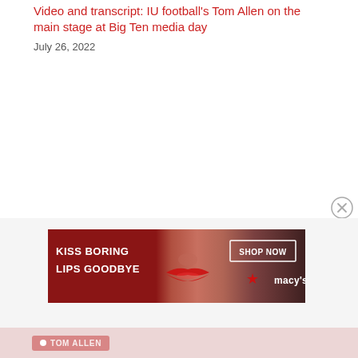Video and transcript: IU football's Tom Allen on the main stage at Big Ten media day
July 26, 2022
[Figure (photo): Advertisement banner: Kiss Boring Lips Goodbye - Shop Now - Macy's, showing a woman's face with red lips]
TOM ALLEN